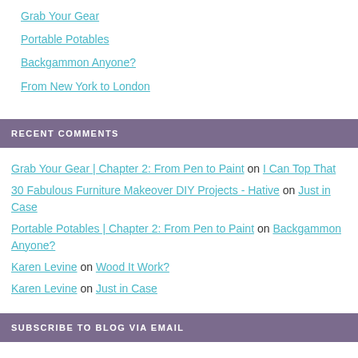Grab Your Gear
Portable Potables
Backgammon Anyone?
From New York to London
RECENT COMMENTS
Grab Your Gear | Chapter 2: From Pen to Paint on I Can Top That
30 Fabulous Furniture Makeover DIY Projects - Hative on Just in Case
Portable Potables | Chapter 2: From Pen to Paint on Backgammon Anyone?
Karen Levine on Wood It Work?
Karen Levine on Just in Case
SUBSCRIBE TO BLOG VIA EMAIL